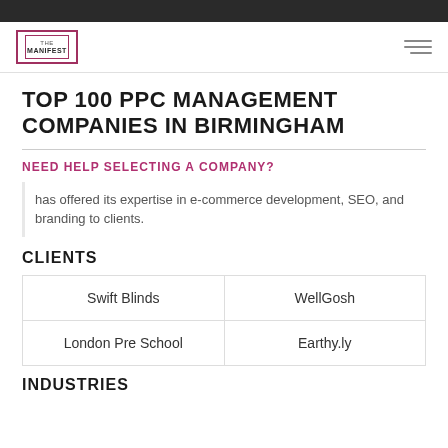THE MANIFEST
TOP 100 PPC MANAGEMENT COMPANIES IN BIRMINGHAM
NEED HELP SELECTING A COMPANY?
has offered its expertise in e-commerce development, SEO, and branding to clients.
CLIENTS
| Swift Blinds | WellGosh |
| London Pre School | Earthy.ly |
INDUSTRIES